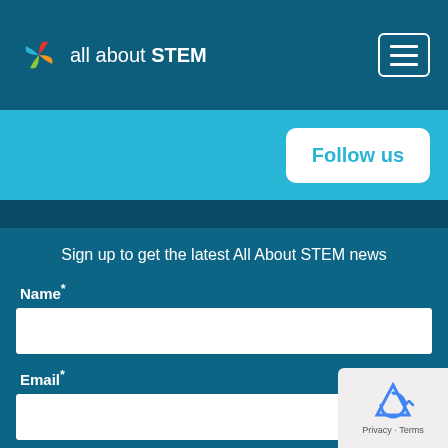all about STEM
Follow us
Sign up to get the latest All About STEM news
Name*
Email*
I want news for:*
Company / Organisation